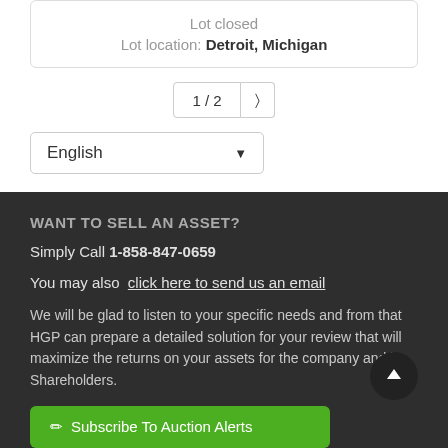Lot closed
Lot location: Detroit, Michigan
1/2 >
English
WANT TO SELL AN ASSET?
Simply Call 1-858-847-0659
You may also click here to send us an email
We will be glad to listen to your specific needs and from that HGP can prepare a detailed solution for your review that will maximize the returns on your assets for the company and its Shareholders.
Subscribe To Auction Alerts